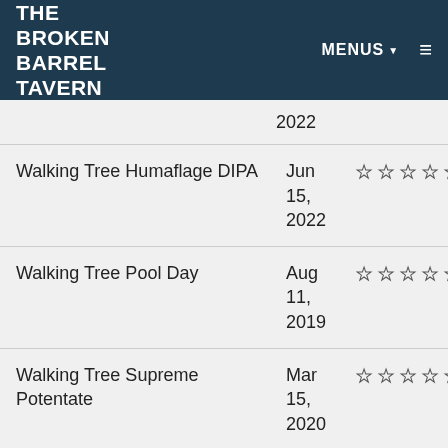The Broken Barrel Tavern
| Beer Name | Date | Rating |
| --- | --- | --- |
|  | 2022 | ☆☆☆☆☆ |
| Walking Tree Humaflage DIPA | Jun 15, 2022 | ☆☆☆☆☆ |
| Walking Tree Pool Day | Aug 11, 2019 | ☆☆☆☆☆ |
| Walking Tree Supreme Potentate | Mar 15, 2020 | ☆☆☆☆☆ |
| Walking Tree Treasure Kolsch | Mar 3, | ☆☆☆☆☆ |